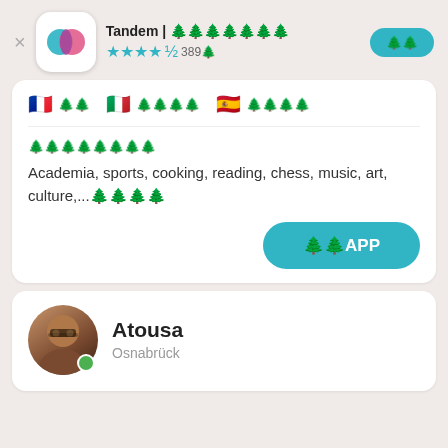[Figure (logo): Tandem app icon with cyan and pink overlapping speech bubbles on white rounded square background]
Tandem | 언어교환 파트너 찾기
★★★★½ 389만
열기
🇫🇷 프랑스어  🇮🇹 이탈리아어  🇪🇸 스페인어
관심사
Academia, sports, cooking, reading, chess, music, art, culture,...더보기
앱열기APP
[Figure (photo): Circular profile photo of a young woman with glasses and dark hair]
Atousa
Osnabrück